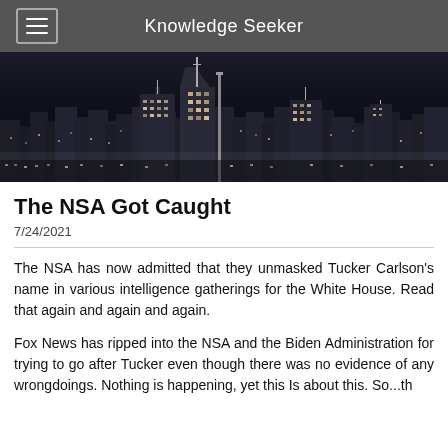Knowledge Seeker
[Figure (photo): Black and white cityscape/skyline at night with skyscrapers and lit buildings]
The NSA Got Caught
7/24/2021
The NSA has now admitted that they unmasked Tucker Carlson's name in various intelligence gatherings for the White House. Read that again and again and again.
Fox News has ripped into the NSA and the Biden Administration for trying to go after Tucker even though there was no evidence of any wrongdoings. Nothing is happening, yet this Is about this. So...th